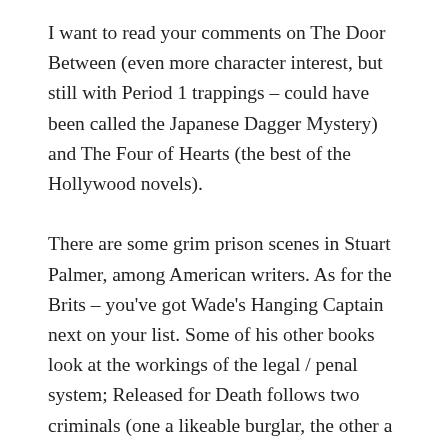I want to read your comments on The Door Between (even more character interest, but still with Period 1 trappings – could have been called the Japanese Dagger Mystery) and The Four of Hearts (the best of the Hollywood novels).
There are some grim prison scenes in Stuart Palmer, among American writers. As for the Brits – you've got Wade's Hanging Captain next on your list. Some of his other books look at the workings of the legal / penal system; Released for Death follows two criminals (one a likeable burglar, the other a killer) from in clink. H.C. Bailey, too, is full of wrongful arrests and police corruption; his instincts were liberal, even if he was writing